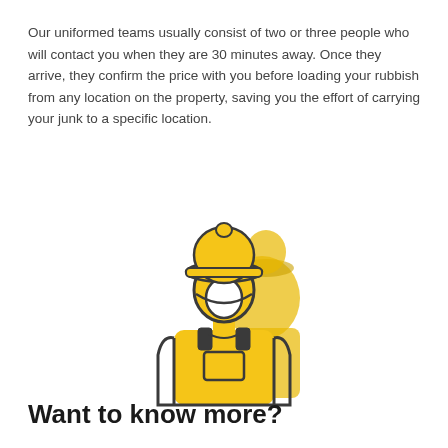Our uniformed teams usually consist of two or three people who will contact you when they are 30 minutes away. Once they arrive, they confirm the price with you before loading your rubbish from any location on the property, saving you the effort of carrying your junk to a specific location.
[Figure (illustration): Icon illustration of a uniformed worker wearing a yellow hard hat and yellow overalls/bib, shown from the shoulders up, with a second worker partially visible behind them. Drawn in a flat icon style with yellow fill and dark outline strokes.]
Want to know more?